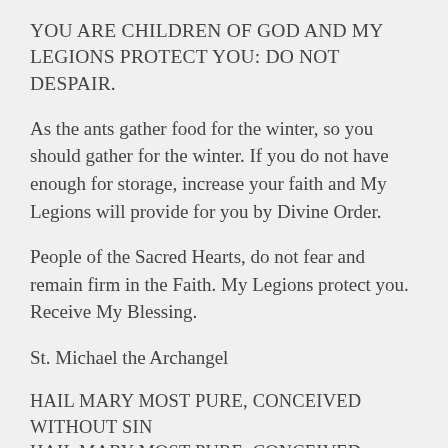YOU ARE CHILDREN OF GOD AND MY LEGIONS PROTECT YOU: DO NOT DESPAIR.
As the ants gather food for the winter, so you should gather for the winter. If you do not have enough for storage, increase your faith and My Legions will provide for you by Divine Order.
People of the Sacred Hearts, do not fear and remain firm in the Faith. My Legions protect you. Receive My Blessing.
St. Michael the Archangel
HAIL MARY MOST PURE, CONCEIVED WITHOUT SIN
HAIL MARY MOST PURE, CONCEIVED WITHOUT SIN
HAIL MARY MOST PURE, CONCEIVED WITHOUT SIN